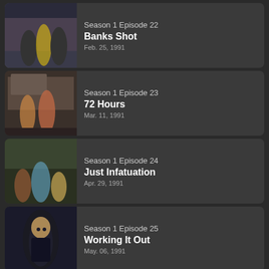Season 1 Episode 22 | Banks Shot | Feb. 25, 1991
Season 1 Episode 23 | 72 Hours | Mar. 11, 1991
Season 1 Episode 24 | Just Infatuation | Apr. 29, 1991
Season 1 Episode 25 | Working It Out | May. 06, 1991
watchthefreshprinceofbel-air.com does not store any files on its server. We only index and link to content provided by other sites.